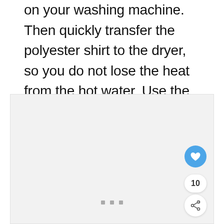on your washing machine. Then quickly transfer the polyester shirt to the dryer, so you do not lose the heat from the hot water. Use the most extreme settings on your dryer to make sure the polyester gets all the heat you can deliver!
[Figure (photo): A light gray placeholder image block with carousel dots at the bottom, a blue heart/like button, a count badge showing 10, and a share button in the bottom-right corner.]